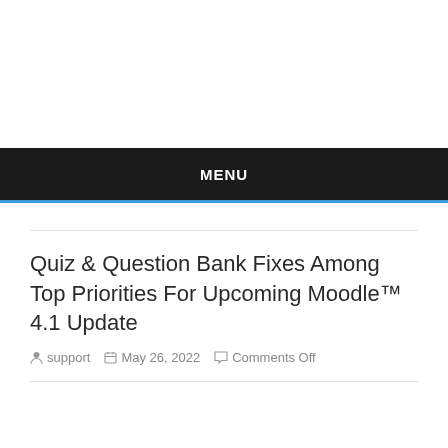MENU
Quiz & Question Bank Fixes Among Top Priorities For Upcoming Moodle™ 4.1 Update
support  May 26, 2022  Comments Off